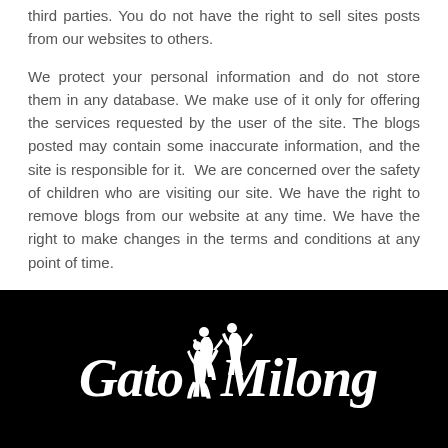third parties. You do not have the right to sell sites posts from our websites to others.
We protect your personal information and do not store them in any database. We make use of it only for offering the services requested by the user of the site. The blogs posted may contain some inaccurate information, and the site is responsible for it.  We are concerned over the safety of children who are visiting our site. We have the right to remove blogs from our website at any time. We have the right to make changes in the terms and conditions at any point of time.
[Figure (logo): Gato Milongueiro logo in white on black background, showing a dancing couple silhouette between the words 'Gato' and 'Milongueiro' in cursive script]